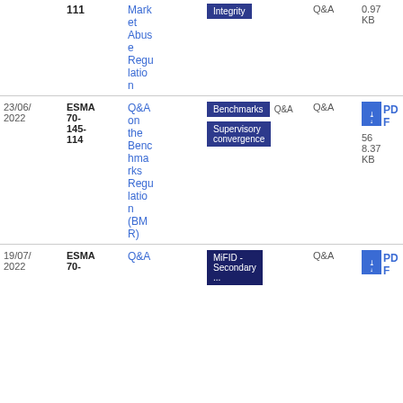| Date | Reference | Title | Tags | Type | Download |
| --- | --- | --- | --- | --- | --- |
|  | 111 | Market Abuse Regulation | Integrity | Q&A | 0.97 KB |
| 23/06/2022 | ESMA 70-145-114 | Q&A on the Benchmarks Regulation (BMR) | Benchmarks | Supervisory convergence | Q&A | PDF 56 8.37 KB |
| 19/07/2022 | ESMA 70-... | Q&A | MiFID - Secondary ... | Q&A | PDF |